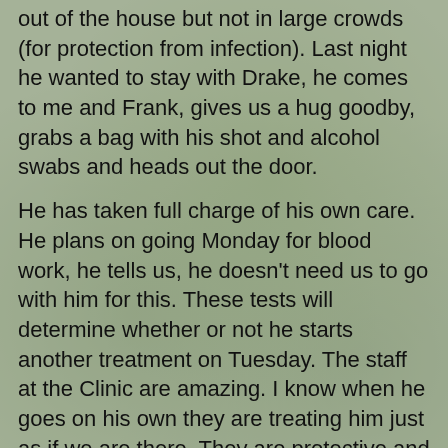out of the house but not in large crowds (for protection from infection). Last night he wanted to stay with Drake, he comes to me and Frank, gives us a hug goodby, grabs a bag with his shot and alcohol swabs and heads out the door.
He has taken full charge of his own care. He plans on going Monday for blood work, he tells us, he doesn't need us to go with him for this. These tests will determine whether or not he starts another treatment on Tuesday. The staff at the Clinic are amazing. I know when he goes on his own they are treating him just as if we are there. They are protective and nurturing and we are blessed to have found the right place.
Mom spent the night last night, this morning she wakes up all smiles. She tells me that she feels so much better after seeing how he is at the clinic and around the house. She noticed while we were at the clinic that his lips were white and then all of a sudden at lunch the color comes back. He showed her how he gives himself the shots. NOW she is not as worried about Zack, she is worried about me.
As a caregiver to my father, an Alzheimer's patient for 12